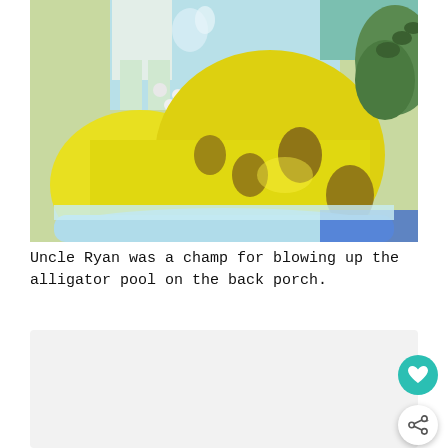[Figure (photo): Close-up photo of a yellow inflatable alligator pool with brown spots and a green alligator head. A child stands inside the pool which contains white balls and a pink ball. The pool sits on a blue surface.]
Uncle Ryan was a champ for blowing up the alligator pool on the back porch.
[Figure (photo): Bottom portion of the page showing a light gray rectangle (partially visible second photo) with a teal heart FAB button and a white share FAB button overlaid in the bottom-right corner.]